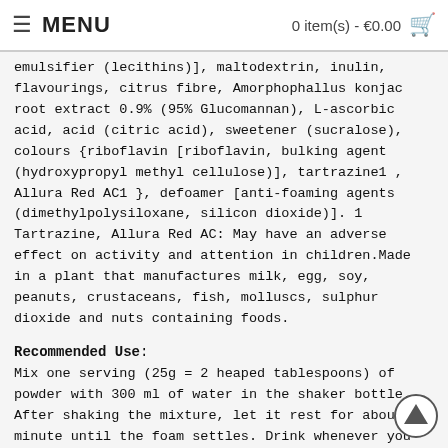MENU   0 item(s) - €0.00
emulsifier (lecithins)], maltodextrin, inulin, flavourings, citrus fibre, Amorphophallus konjac root extract 0.9% (95% Glucomannan), L-ascorbic acid, acid (citric acid), sweetener (sucralose), colours {riboflavin [riboflavin, bulking agent (hydroxypropyl methyl cellulose)], tartrazine1 , Allura Red AC1 }, defoamer [anti-foaming agents (dimethylpolysiloxane, silicon dioxide)]. 1 Tartrazine, Allura Red AC: May have an adverse effect on activity and attention in children.Made in a plant that manufactures milk, egg, soy, peanuts, crustaceans, fish, molluscs, sulphur dioxide and nuts containing foods.
Recommended Use:
Mix one serving (25g = 2 heaped tablespoons) of powder with 300 ml of water in the shaker bottle. After shaking the mixture, let it rest for about a minute until the foam settles. Drink whenever you need a refreshment. The product does not replace a varied diet and a healthy lifestyle.